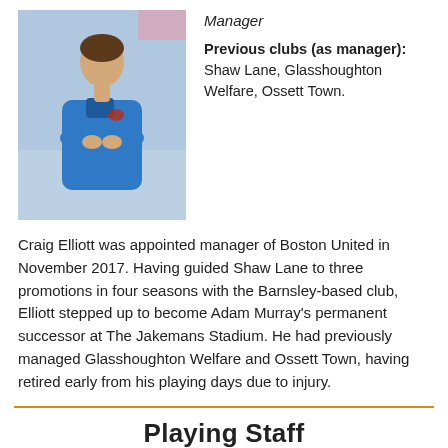[Figure (photo): Man in blue jacket with arms crossed, outdoor sports setting]
Manager
Previous clubs (as manager): Shaw Lane, Glasshoughton Welfare, Ossett Town.
Craig Elliott was appointed manager of Boston United in November 2017. Having guided Shaw Lane to three promotions in four seasons with the Barnsley-based club, Elliott stepped up to become Adam Murray's permanent successor at The Jakemans Stadium. He had previously managed Glasshoughton Welfare and Ossett Town, having retired early from his playing days due to injury.
Playing Staff
PETER CROOK b. 1/9/1993